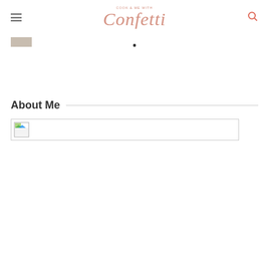COOK & ME WITH Confetti
[Figure (screenshot): Small grey/tan navigation box on left side of nav bar]
[Figure (infographic): Small bullet/dot navigation indicator centered in nav bar]
About Me
[Figure (photo): Broken image placeholder with small thumbnail icon inside a bordered rectangle]